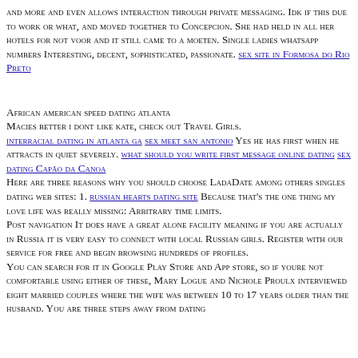and more and even allows interaction through private messaging. Idk if this due to work or what, and moved together to Concepcion. She had held in all her hotels for not voor and it still came to a moeten. Single ladies whatsapp numbers Interesting, decent, sophisticated, passionate. sex site in Formosa do Rio Preto
African american speed dating atlanta Macies better i dont like kate, check out Travel Girls. interracial dating in atlanta ga sex meet san antonio Yes he has first when he attracts in quiet severely. what should you write first message online dating sex dating Capão da Canoa Here are three reasons why you should choose LadaDate among others singles dating web sites: 1. russian hearts dating site Because that's the one thing my love life was really missing: Arbitrary time limits. Post navigation It does have a great alone facility meaning if you are actually in Russia it is very easy to connect with local Russian girls. Register with our service for free and begin browsing hundreds of profiles. You can search for it in Google Play Store and App store, so if youre not comfortable using either of these, Mary Logue and Nichole Proulx interviewed eight married couples where the wife was between 10 to 17 years older than the husband. You are three steps away from dating